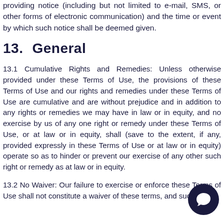providing notice (including but not limited to e-mail, SMS, or other forms of electronic communication) and the time or event by which such notice shall be deemed given.
13.   General
13.1 Cumulative Rights and Remedies: Unless otherwise provided under these Terms of Use, the provisions of these Terms of Use and our rights and remedies under these Terms of Use are cumulative and are without prejudice and in addition to any rights or remedies we may have in law or in equity, and no exercise by us of any one right or remedy under these Terms of Use, or at law or in equity, shall (save to the extent, if any, provided expressly in these Terms of Use or at law or in equity) operate so as to hinder or prevent our exercise of any other such right or remedy as at law or in equity.
13.2 No Waiver: Our failure to exercise or enforce these Terms of Use shall not constitute a waiver of these terms, and such
[Figure (illustration): Chat bubble icon — a dark navy circular button with a white speech/chat bubble icon in the center, positioned at bottom-right of the page.]